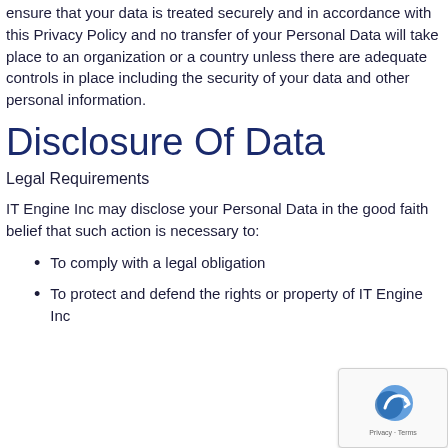ensure that your data is treated securely and in accordance with this Privacy Policy and no transfer of your Personal Data will take place to an organization or a country unless there are adequate controls in place including the security of your data and other personal information.
Disclosure Of Data
Legal Requirements
IT Engine Inc may disclose your Personal Data in the good faith belief that such action is necessary to:
To comply with a legal obligation
To protect and defend the rights or property of IT Engine Inc